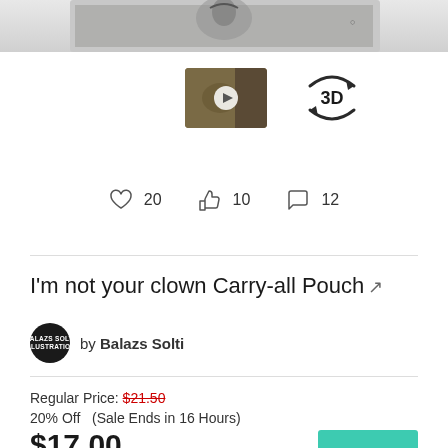[Figure (screenshot): Top portion of product image strip (cropped, shows partial animal photo in grayscale)]
[Figure (screenshot): Video thumbnail showing product (brownish colors with play button overlay)]
[Figure (illustration): 3D rotate icon — circular arrows around '3D' text]
20   10   12
I'm not your clown Carry-all Pouch
by Balazs Solti
Regular Price: $21.50
20% Off   (Sale Ends in 16 Hours)
$17.00